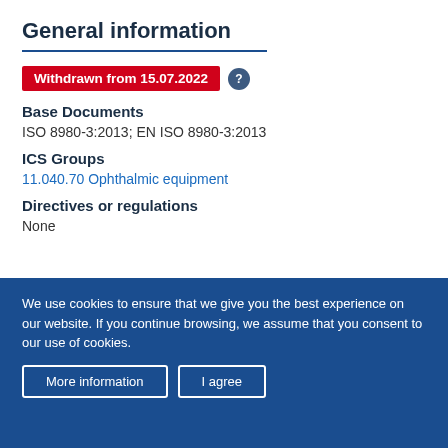General information
Withdrawn from 15.07.2022
Base Documents
ISO 8980-3:2013; EN ISO 8980-3:2013
ICS Groups
11.040.70 Ophthalmic equipment
Directives or regulations
None
We use cookies to ensure that we give you the best experience on our website. If you continue browsing, we assume that you consent to our use of cookies.
More information | I agree